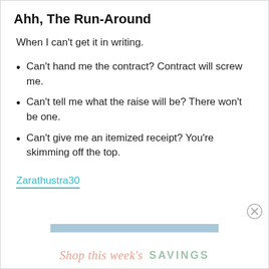Ahh, The Run-Around
When I can't get it in writing.
Can't hand me the contract? Contract will screw me.
Can't tell me what the raise will be? There won't be one.
Can't give me an itemized receipt? You're skimming off the top.
Zarathustra30
Shop this week's SAVINGS